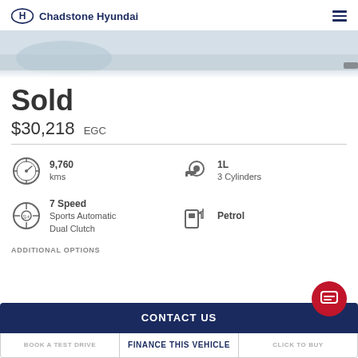Chadstone Hyundai
[Figure (photo): Partial view of a car (blue/white), cropped banner image]
Sold
$30,218 EGC
9,760 kms
1L 3 Cylinders
7 Speed Sports Automatic Dual Clutch
Petrol
ADDITIONAL OPTIONS
CONTACT US
BOOK A TEST DRIVE
FINANCE THIS VEHICLE
CLICK TO BUY